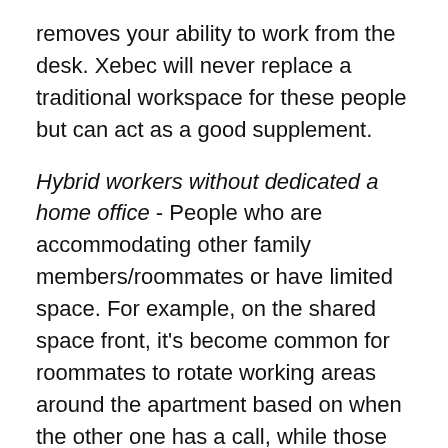removes your ability to work from the desk. Xebec will never replace a traditional workspace for these people but can act as a good supplement.
Hybrid workers without dedicated a home office - People who are accommodating other family members/roommates or have limited space. For example, on the shared space front, it's become common for roommates to rotate working areas around the apartment based on when the other one has a call, while those with small apartments are forced to work from their kitchen table because they have no room for a desk. Xebec provides flexibility and space-saving solutions for this cohort.
Hybrid workers when working from the office - Even